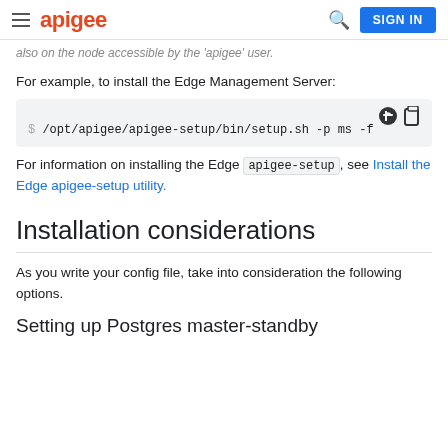apigee  SIGN IN
also on the node accessible by the 'apigee' user.
For example, to install the Edge Management Server:
$ /opt/apigee/apigee-setup/bin/setup.sh -p ms -f
For information on installing the Edge apigee-setup, see Install the Edge apigee-setup utility.
Installation considerations
As you write your config file, take into consideration the following options.
Setting up Postgres master-standby